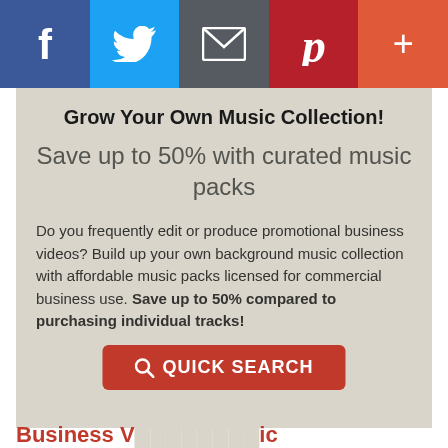[Figure (other): Social media sharing bar with Facebook (blue), Twitter (light blue), Email (grey), Pinterest (dark red), and Plus (orange-red) buttons]
Grow Your Own Music Collection!
Save up to 50% with curated music packs
Do you frequently edit or produce promotional business videos? Build up your own background music collection with affordable music packs licensed for commercial business use. Save up to 50% compared to purchasing individual tracks!
[Figure (other): Red QUICK SEARCH button with magnifying glass icon]
Business V... ...ic